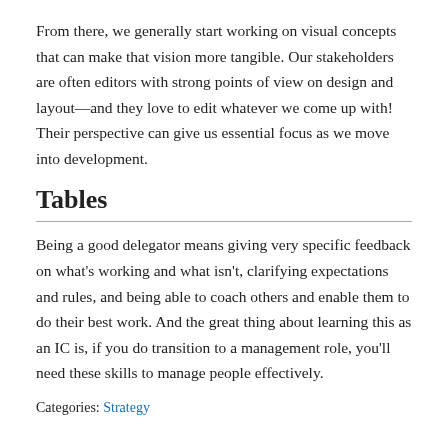From there, we generally start working on visual concepts that can make that vision more tangible. Our stakeholders are often editors with strong points of view on design and layout—and they love to edit whatever we come up with! Their perspective can give us essential focus as we move into development.
Tables
Being a good delegator means giving very specific feedback on what's working and what isn't, clarifying expectations and rules, and being able to coach others and enable them to do their best work. And the great thing about learning this as an IC is, if you do transition to a management role, you'll need these skills to manage people effectively.
Categories: Strategy